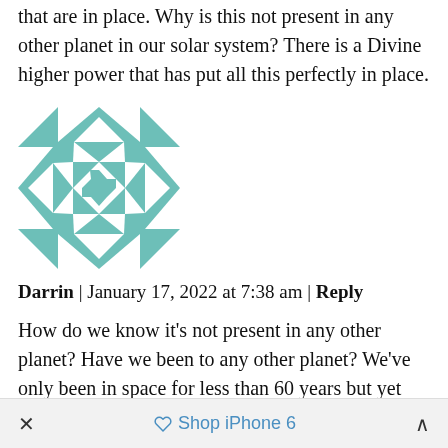that are in place. Why is this not present in any other planet in our solar system? There is a Divine higher power that has put all this perfectly in place.
[Figure (illustration): Teal and white geometric quilt-pattern avatar image, square, approximately 160x160px]
Darrin | January 17, 2022 at 7:38 am | Reply
How do we know it’s not present in any other planet? Have we been to any other planet? We’ve only been in space for less than 60 years but yet now we know everything???
×   Shop iPhone 6   ∧